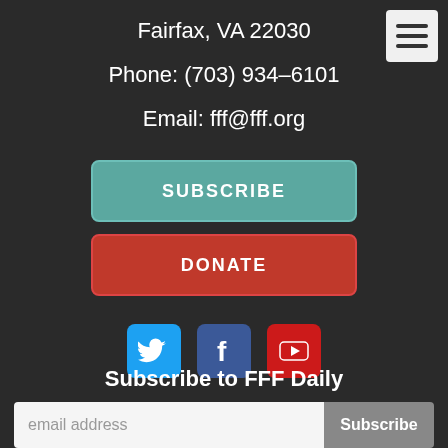Fairfax, VA 22030
Phone: (703) 934-6101
Email: fff@fff.org
SUBSCRIBE
DONATE
[Figure (other): Social media icons: Twitter (blue bird), Facebook (blue f), YouTube (red play button)]
Subscribe to FFF Daily
email address